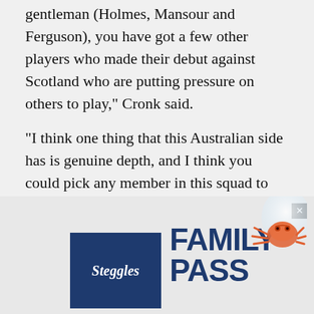gentleman (Holmes, Mansour and Ferguson), you have got a few other players who made their debut against Scotland who are putting pressure on others to play," Cronk said.
"I think one thing that this Australian side has is genuine depth, and I think you could pick any member in this squad to perform against New Zealand and England and they would do the job.
[Figure (other): Steggles Family Pass advertisement banner showing Steggles logo in dark blue box with cursive text, and 'FAMILY PASS' text in bold dark blue letters, with a crab illustration in top right corner and close button.]